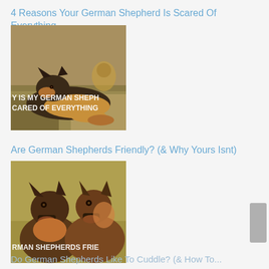4 Reasons Your German Shepherd Is Scared Of Everything
[Figure (photo): German Shepherd dog lying on grass with overlay text 'WHY IS MY GERMAN SHEPHERD SCARED OF EVERYTHING']
Are German Shepherds Friendly? (& Why Yours Isnt)
[Figure (photo): Two German Shepherd dogs sitting outdoors with overlay text 'ARE GERMAN SHEPHERDS FRIENDLY']
Do German Shepherds Like To Cuddle? (& How To...